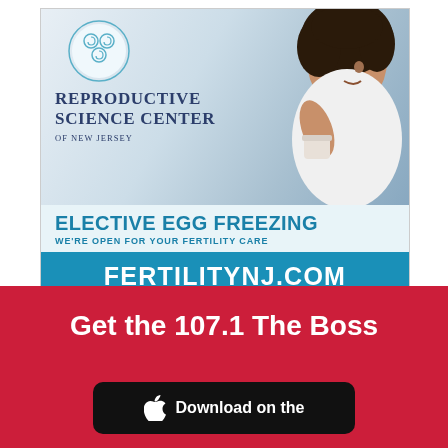[Figure (illustration): Reproductive Science Center of New Jersey advertisement showing logo, woman with curly hair holding a cup, blue and teal bands with text]
ELECTIVE EGG FREEZING
WE'RE OPEN FOR YOUR FERTILITY CARE
FERTILITYNJ.COM
Get the 107.1 The Boss
[Figure (logo): Download on the App Store button]